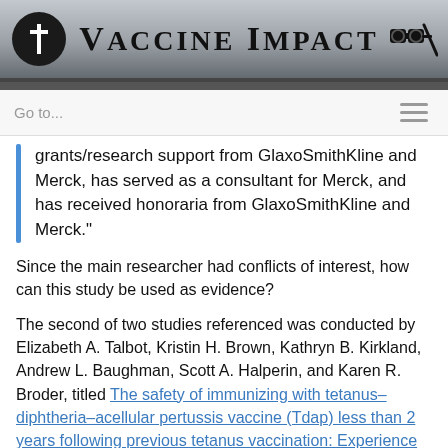[Figure (logo): Vaccine Impact website header banner with logo icon on left, bold serif title 'VACCINE IMPACT' in center, binoculars and rifle silhouette icons on right, on a grey gradient background.]
Go to...
grants/research support from GlaxoSmithKline and Merck, has served as a consultant for Merck, and has received honoraria from GlaxoSmithKline and Merck."
Since the main researcher had conflicts of interest, how can this study be used as evidence?
The second of two studies referenced was conducted by Elizabeth A. Talbot, Kristin H. Brown, Kathryn B. Kirkland, Andrew L. Baughman, Scott A. Halperin, and Karen R. Broder, titled The safety of immunizing with tetanus–diphtheria–acellular pertussis vaccine (Tdap) less than 2 years following previous tetanus vaccination: Experience during a mass vaccination campaign of healthcare